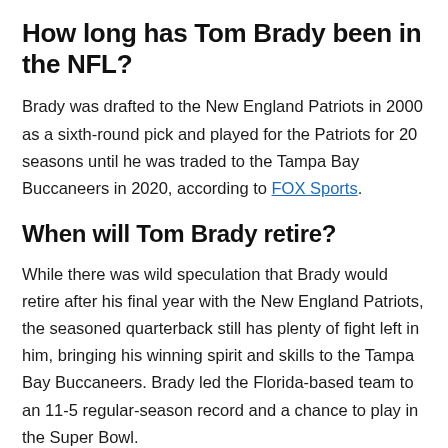How long has Tom Brady been in the NFL?
Brady was drafted to the New England Patriots in 2000 as a sixth-round pick and played for the Patriots for 20 seasons until he was traded to the Tampa Bay Buccaneers in 2020, according to FOX Sports.
When will Tom Brady retire?
While there was wild speculation that Brady would retire after his final year with the New England Patriots, the seasoned quarterback still has plenty of fight left in him, bringing his winning spirit and skills to the Tampa Bay Buccaneers. Brady led the Florida-based team to an 11-5 regular-season record and a chance to play in the Super Bowl.